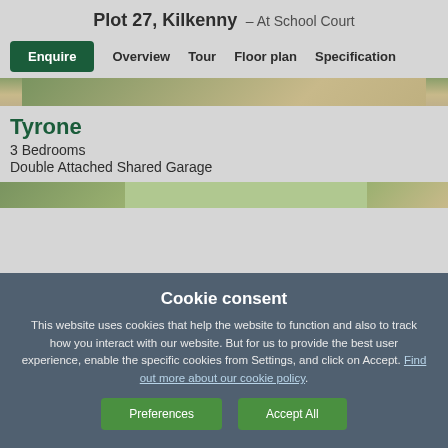Plot 27, Kilkenny – At School Court
Enquire   Overview   Tour   Floor plan   Specification
[Figure (photo): Exterior photo of house/property, showing roofline and facade]
Tyrone
3 Bedrooms
Double Attached Shared Garage
[Figure (photo): Partial view of another property image at the bottom]
Cookie consent

This website uses cookies that help the website to function and also to track how you interact with our website. But for us to provide the best user experience, enable the specific cookies from Settings, and click on Accept. Find out more about our cookie policy.